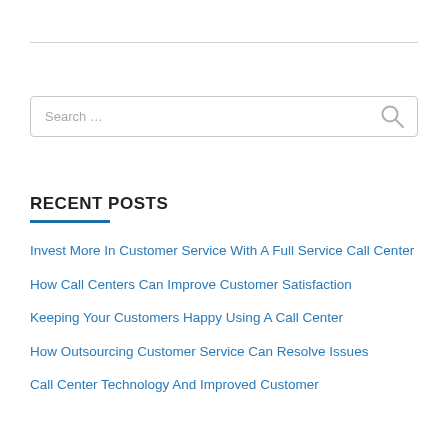RECENT POSTS
Invest More In Customer Service With A Full Service Call Center
How Call Centers Can Improve Customer Satisfaction
Keeping Your Customers Happy Using A Call Center
How Outsourcing Customer Service Can Resolve Issues
Call Center Technology And Improved Customer Service